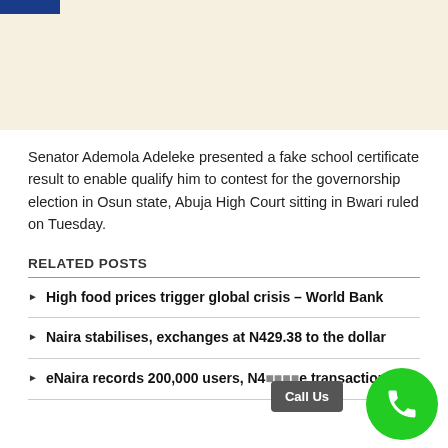[Figure (other): Top banner with cream/beige background and small blue bar in top-left corner]
Senator Ademola Adeleke presented a fake school certificate result to enable qualify him to contest for the governorship election in Osun state, Abuja High Court sitting in Bwari ruled on Tuesday.
RELATED POSTS
High food prices trigger global crisis – World Bank
Naira stabilises, exchanges at N429.38 to the dollar
eNaira records 200,000 users, N4... transactions